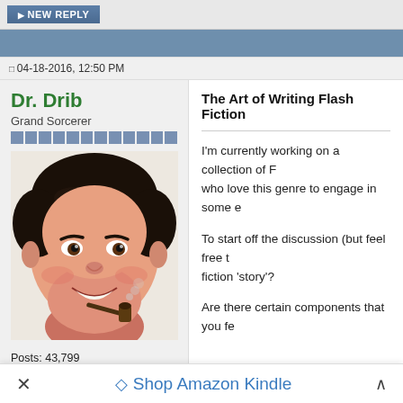NEW REPLY
04-18-2016, 12:50 PM
Dr. Drib
Grand Sorcerer
Posts: 43,799
Karma: 50339399
Join Date: Jan 2007
Location: Peru
Device: Kindle: Oasis 3, Voyage WiFi; Kobo: Libra 2, Aura One
[Figure (illustration): Cartoon avatar of a smiling man with dark hair smoking a pipe]
The Art of Writing Flash Fiction

I'm currently working on a collection of F... who love this genre to engage in some e...

To start off the discussion (but feel free t... fiction 'story'?

Are there certain components that you fe...
× Shop Amazon Kindle ^